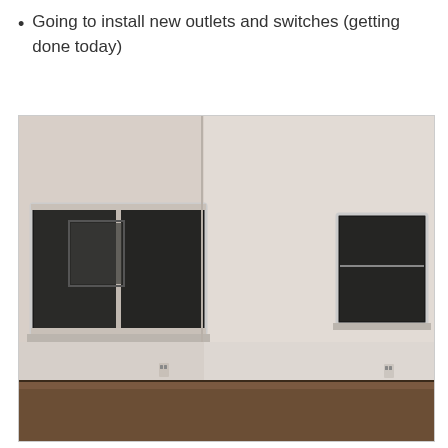Going to install new outlets and switches (getting done today)
[Figure (photo): Interior photo of an empty room with white walls, dark wood floor, two windows on the left wall and one window on the right wall, visible ceiling light fixture, and two electrical outlets near the floor.]